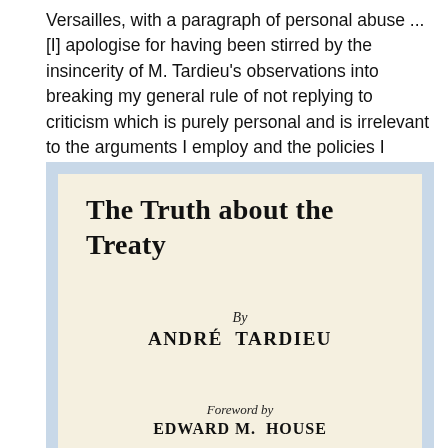Versailles, with a paragraph of personal abuse ...[I] apologise for having been stirred by the insincerity of M. Tardieu's observations into breaking my general rule of not replying to criticism which is purely personal and is irrelevant to the arguments I employ and the policies I advocate".
[Figure (illustration): Book title page for 'The Truth about the Treaty' by André Tardieu, with Foreword by Edward M. House and Introduction by Georges Clemenceau, shown as a cream/off-white page inside a light blue border.]